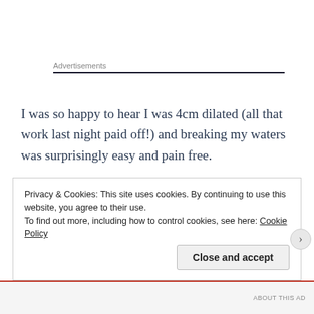Advertisements
I was so happy to hear I was 4cm dilated (all that work last night paid off!) and breaking my waters was surprisingly easy and pain free.
Well, from that moment, it was game on! We put the call in to my parents as we had agreed that my mum and sister would join us in the birth suite. They were both
Privacy & Cookies: This site uses cookies. By continuing to use this website, you agree to their use.
To find out more, including how to control cookies, see here: Cookie Policy
ABOUT THIS AD